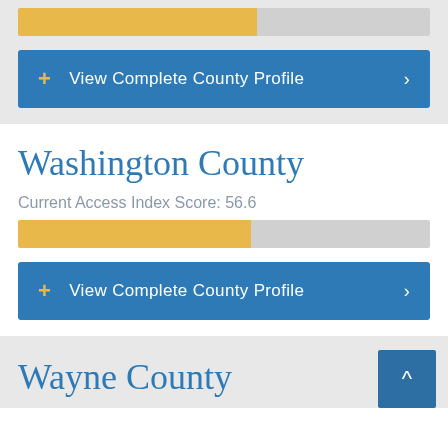[Figure (other): Yellow progress bar showing county access index score, approximately 58% filled]
View Complete County Profile
Washington County
Current Access Index Score: 56.6
[Figure (other): Yellow progress bar showing Washington County access index score of 56.6, approximately 56.6% filled]
View Complete County Profile
Wayne County